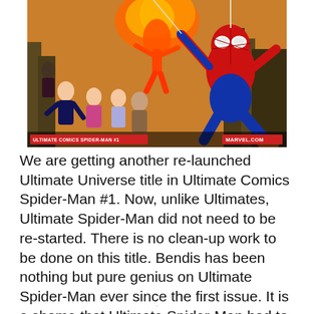[Figure (illustration): Cover art for Ultimate Comics Spider-Man #1 showing Spider-Man swinging in the foreground (red and blue costume) alongside a group of teenage heroes and a character on fire. A red banner at the bottom left reads 'ULTIMATE COMICS SPIDER-MAN #1' and the Marvel.com logo appears at the bottom right.]
We are getting another re-launched Ultimate Universe title in Ultimate Comics Spider-Man #1. Now, unlike Ultimates, Ultimate Spider-Man did not need to be re-started. There is no clean-up work to be done on this title. Bendis has been nothing but pure genius on Ultimate Spider-Man ever since the first issue. It is a shame that Ultimate Spider-Man had to get pulled [redacted]